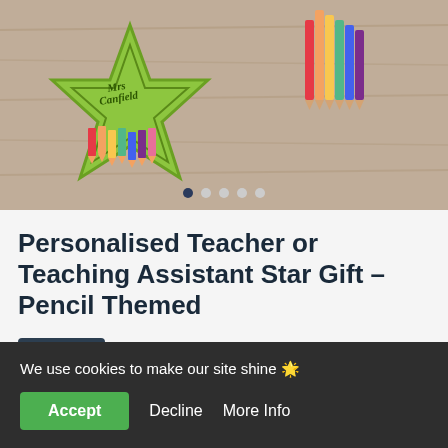[Figure (photo): Product photo of a personalised teacher star gift with pencil theme — a green star-shaped wooden decoration with 'Mrs Canfield' text and colourful pencil decorations, plus a rainbow pencil design on right side, placed on a rustic wooden surface. Carousel dots shown at bottom.]
Personalised Teacher or Teaching Assistant Star Gift – Pencil Themed
£9.50  UK postage included
We use cookies to make our site shine 🍪
Accept  Decline  More Info